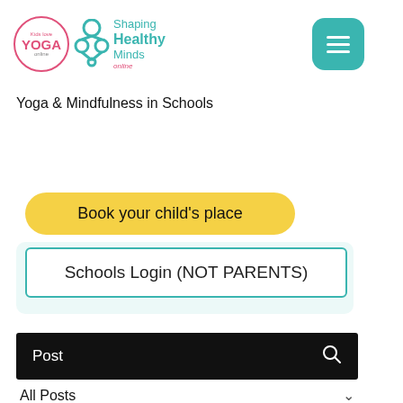[Figure (logo): Kids Love Yoga Online and Shaping Healthy Minds Online logos side by side, with a teal hamburger menu button on the right]
Yoga & Mindfulness in Schools
Book your child's place
Schools Login (NOT PARENTS)
Post
All Posts